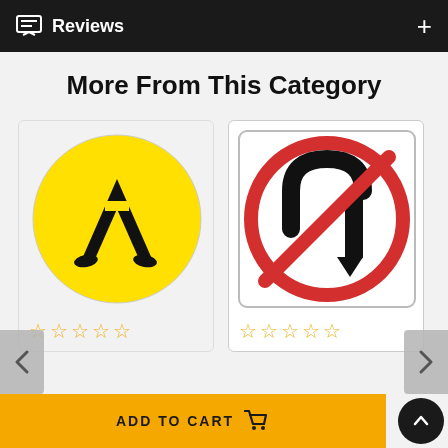Reviews
More From This Category
[Figure (illustration): Yellow circular pedestrian crossing sign with black silhouette of walking legs]
[Figure (illustration): White square no U-turn road sign with red circle and slash over black U-turn arrow]
ADD TO CART